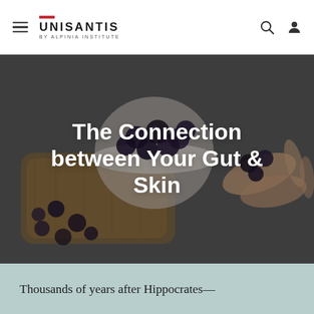UNISANTIS BY ALPINIA INSTITUTE
[Figure (photo): Overhead view of hands holding blueberries with a bowl of blueberries on a wooden cutting board, dark moody background]
The Connection between Your Gut & Skin
Thousands of years after Hippocrates—